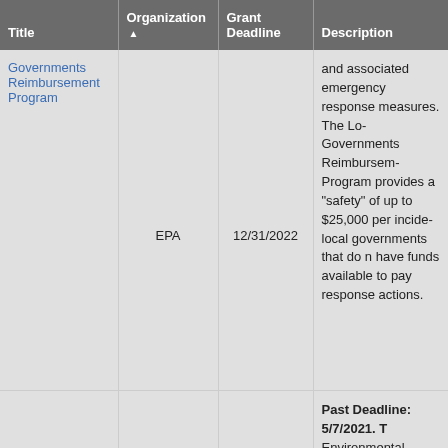| Title | Organization ▲ | Grant Deadline | Description |
| --- | --- | --- | --- |
| Governments Reimbursement Program | EPA | 12/31/2022 | and associated emergency response measures. The Local Governments Reimbursement Program provides a "safety" of up to $25,000 per incident local governments that do not have funds available to pay response actions. |
|  |  |  | Past Deadline: 5/7/2021. The Environmental Justice Collaborative Problem-Solving (EJCPS) Cooperative Agreement Program provides financial assistance to eligible organizations working on or planning to work on projects that address local environmental and/or public health issues in their communities. The program assists recipients in building collaborative partnerships with other stakeholders (e.g., lo... |